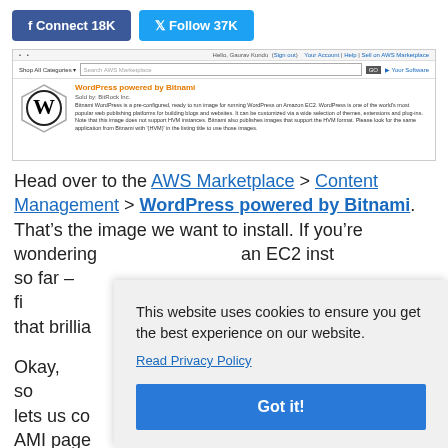[Figure (screenshot): Social media buttons: Facebook Connect 18K and Twitter Follow 37K]
[Figure (screenshot): AWS Marketplace screenshot showing WordPress powered by Bitnami listing with hexagonal WordPress logo, sold by BitRock Inc, and product description]
Head over to the AWS Marketplace > Content Management > WordPress powered by Bitnami. That's the image we want to install. If you're wondering why we haven't done an EC2 instance so far – fi... that brillia...
Okay, so ... lets us co... AMI page... run the risk of overwriting a previously configured EC2
[Figure (screenshot): Cookie consent overlay: 'This website uses cookies to ensure you get the best experience on our website. Read Privacy Policy' with Got it! button]